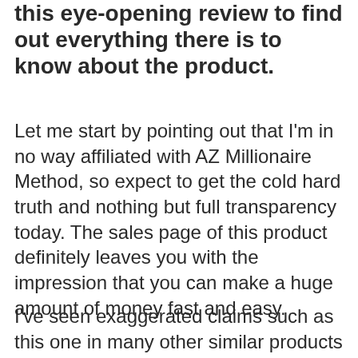this eye-opening review to find out everything there is to know about the product.
Let me start by pointing out that I'm in no way affiliated with AZ Millionaire Method, so expect to get the cold hard truth and nothing but full transparency today. The sales page of this product definitely leaves you with the impression that you can make a huge amount of money fast and easy.
I've seen exaggerated claims such as this one in many other similar products and if you fall for the hype